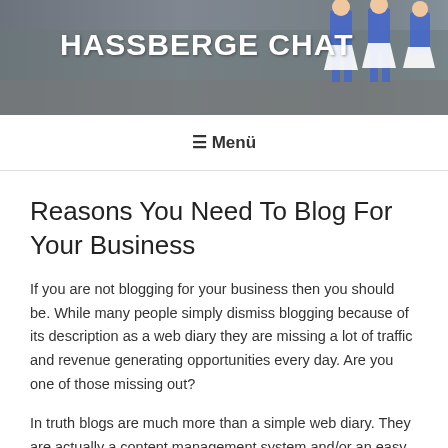[Figure (photo): Header banner photograph showing cheerleaders in blue and white uniforms on a street, with a blurred background]
HASSBERGE CHAT
≡ Menü
Reasons You Need To Blog For Your Business
If you are not blogging for your business then you should be. While many people simply dismiss blogging because of its description as a web diary they are missing a lot of traffic and revenue generating opportunities every day. Are you one of those missing out?
In truth blogs are much more than a simple web diary. They are actually a content management system and/or an easy web site template. Blogging software allows